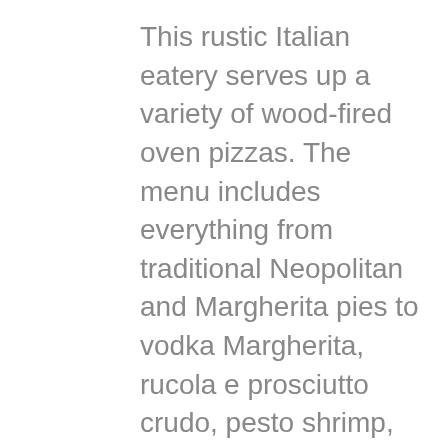This rustic Italian eatery serves up a variety of wood-fired oven pizzas. The menu includes everything from traditional Neopolitan and Margherita pies to vodka Margherita, rucola e prosciutto crudo, pesto shrimp, truffle mushroom, and baby spinach and artichoke white pizza. Its flatbreads include rustica flatbread, chicken caprese flatbread, and veggie flatbread.
On Thursdays, foodies can choose any woodfired pizza and pair it with a Peroni beer, Sloop Juice Bomb cider or housemade sangria for $20. Gluten free? Savona's offers up a cauliflower crust, which is available upon request (takeout only). 7249 S Broadway; (845) 758-6499